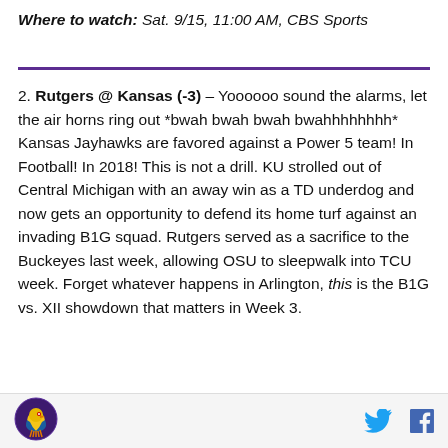Where to watch: Sat. 9/15, 11:00 AM, CBS Sports
2. Rutgers @ Kansas (-3) – Yoooooo sound the alarms, let the air horns ring out *bwah bwah bwah bwahhhhhhhh* Kansas Jayhawks are favored against a Power 5 team! In Football! In 2018! This is not a drill. KU strolled out of Central Michigan with an away win as a TD underdog and now gets an opportunity to defend its home turf against an invading B1G squad. Rutgers served as a sacrifice to the Buckeyes last week, allowing OSU to sleepwalk into TCU week. Forget whatever happens in Arlington, this is the B1G vs. XII showdown that matters in Week 3.
[Figure (logo): Kansas Jayhawks circular logo in purple]